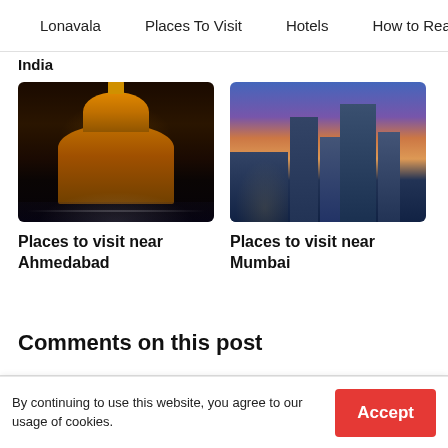Lonavala   Places To Visit   Hotels   How to Rea
India
[Figure (photo): Illuminated temple at night with reflections on wet ground, Ahmedabad]
Places to visit near Ahmedabad
[Figure (photo): Mumbai city skyline at dusk with high-rise buildings and colorful sky]
Places to visit near Mumbai
Comments on this post
By continuing to use this website, you agree to our usage of cookies.